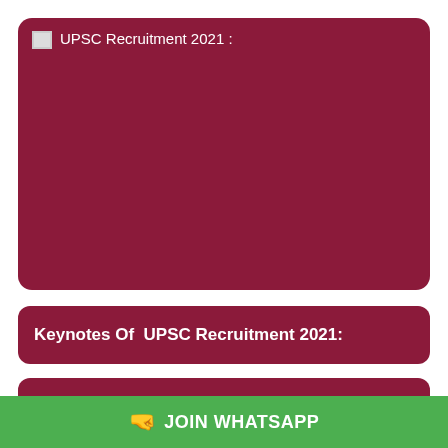[Figure (other): Large dark red/maroon image block with broken image icon and alt text 'UPSC Recruitment 2021 :']
Keynotes Of UPSC Recruitment 2021:
Name Of the Posts
JOIN WHATSAPP